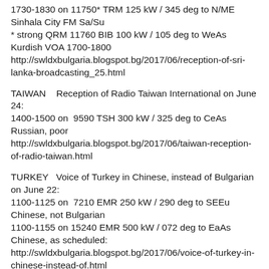1730-1830 on 11750* TRM 125 kW / 345 deg to N/ME Sinhala City FM Sa/Su
* strong QRM 11760 BIB 100 kW / 105 deg to WeAs Kurdish VOA 1700-1800
http://swldxbulgaria.blogspot.bg/2017/06/reception-of-sri-lanka-broadcasting_25.html
TAIWAN   Reception of Radio Taiwan International on June 24:
1400-1500 on  9590 TSH 300 kW / 325 deg to CeAs Russian, poor
http://swldxbulgaria.blogspot.bg/2017/06/taiwan-reception-of-radio-taiwan.html
TURKEY   Voice of Turkey in Chinese, instead of Bulgarian on June 22:
1100-1125 on  7210 EMR 250 kW / 290 deg to SEEu Chinese, not Bulgarian
1100-1155 on 15240 EMR 500 kW / 072 deg to EaAs Chinese, as scheduled:
http://swldxbulgaria.blogspot.bg/2017/06/voice-of-turkey-in-chinese-instead-of.html